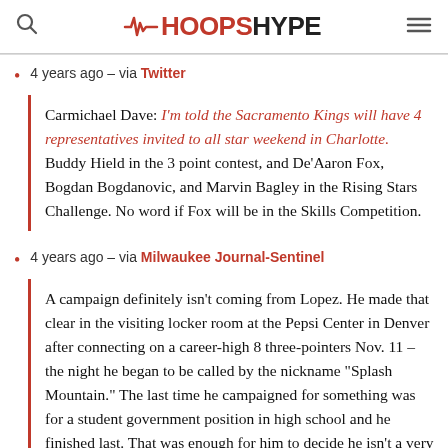HoopsHype
4 years ago – via Twitter
Carmichael Dave: I'm told the Sacramento Kings will have 4 representatives invited to all star weekend in Charlotte. Buddy Hield in the 3 point contest, and De'Aaron Fox, Bogdan Bogdanovic, and Marvin Bagley in the Rising Stars Challenge. No word if Fox will be in the Skills Competition.
4 years ago – via Milwaukee Journal-Sentinel
A campaign definitely isn't coming from Lopez. He made that clear in the visiting locker room at the Pepsi Center in Denver after connecting on a career-high 8 three-pointers Nov. 11 – the night he began to be called by the nickname "Splash Mountain." The last time he campaigned for something was for a student government position in high school and he finished last. That was enough for him to decide he isn't a very good politician or campaigner. "That would be pretty wild, it